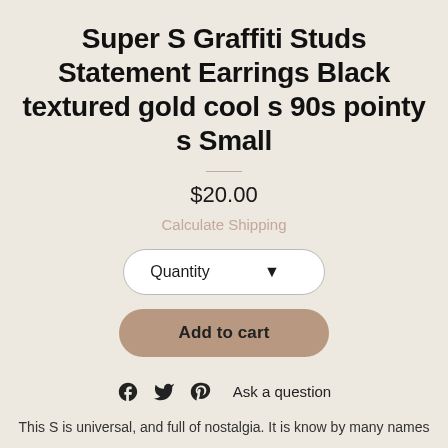Super S Graffiti Studs Statement Earrings Black textured gold cool s 90s pointy s Small
$20.00
Calculate Shipping
Quantity
Add to cart
Ask a question
This S is universal, and full of nostalgia. It is know by many names